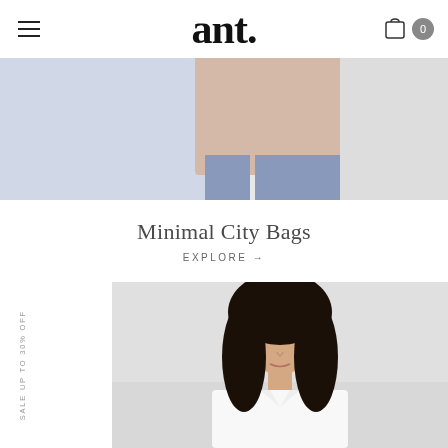ant.
[Figure (photo): Close-up photo of a person holding a minimal blush/beige structured tote bag, wearing blue jeans. White background.]
Minimal City Bags
EXPLORE →
SALE UP TO 30% OFF
[Figure (photo): Fashion photo of a young woman with dark hair wearing a white collared shirt and ornate drop earrings, neutral grey background.]